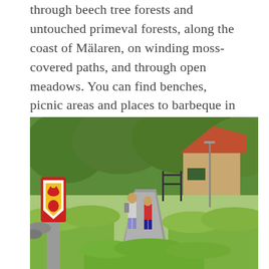through beech tree forests and untouched primeval forests, along the coast of Mälaren, on winding moss-covered paths, and through open meadows. You can find benches, picnic areas and places to barbeque in many areas.
[Figure (photo): Two hikers walking along a paved path through lush green gardens and hedges, with a yellow-and-red waymarker post bearing a crown emblem in the foreground (blurred), and a building with a red roof visible in the background.]